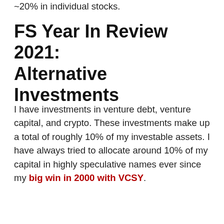~20% in individual stocks.
FS Year In Review 2021: Alternative Investments
I have investments in venture debt, venture capital, and crypto. These investments make up a total of roughly 10% of my investable assets. I have always tried to allocate around 10% of my capital in highly speculative names ever since my big win in 2000 with VCSY.